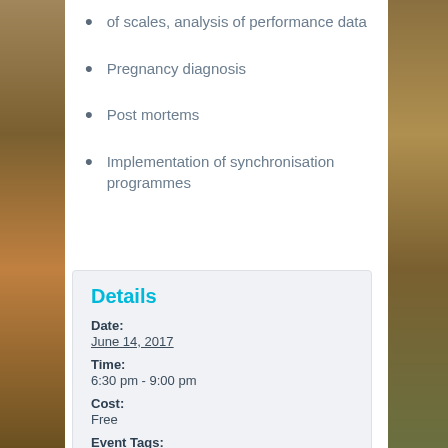of scales, analysis of performance data
Pregnancy diagnosis
Post mortems
Implementation of synchronisation programmes
Details
Date:
June 14, 2017
Time:
6:30 pm - 9:00 pm
Cost:
Free
Event Tags:
beef, beef4life, cattle